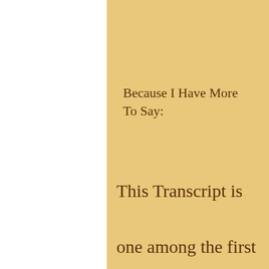Because I Have More To Say:
This Transcript is one among the first ones that I published back